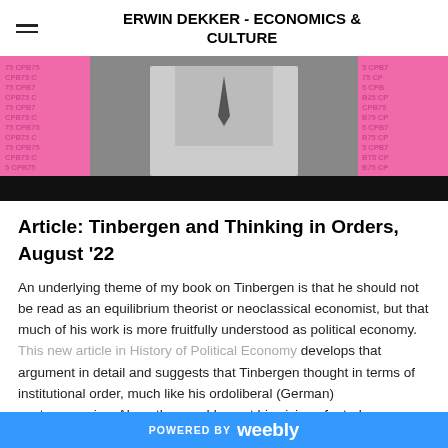ERWIN DEKKER - ECONOMICS & CULTURE
[Figure (photo): Black and white photo of a man in a suit and tie against a pink background with repeated 'CPB75' text pattern on the sides]
Article: Tinbergen and Thinking in Orders, August '22
An underlying theme of my book on Tinbergen is that he should not be read as an equilibrium theorist or neoclassical economist, but that much of his work is more fruitfully understood as political economy. This new article in History of Political Economy develops that argument in detail and suggests that Tinbergen thought in terms of institutional order, much like his ordoliberal (German) contemporaries. Along the way I lay out his vision of a truly international economic order
POWERED BY weebly